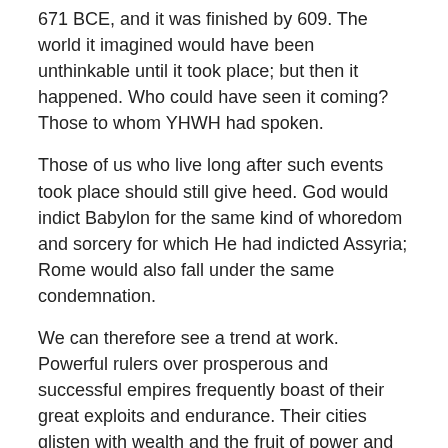671 BCE, and it was finished by 609. The world it imagined would have been unthinkable until it took place; but then it happened. Who could have seen it coming? Those to whom YHWH had spoken.
Those of us who live long after such events took place should still give heed. God would indict Babylon for the same kind of whoredom and sorcery for which He had indicted Assyria; Rome would also fall under the same condemnation.
We can therefore see a trend at work. Powerful rulers over prosperous and successful empires frequently boast of their great exploits and endurance. Their cities glisten with wealth and the fruit of power and prosperity. Everything looks stable; people expect things to continue as they have in the past.
But then, all of a sudden, disaster strikes. Difficulties which have been manifest for those who had eyes to see now undermine the presumed strength of the nation. Collapse, destruction, and devastation may come quickly and thoroughly; it may be drawn out for years, decades, or even centuries. But the end would indeed come.
Who could have seen it coming? Those who would heed what